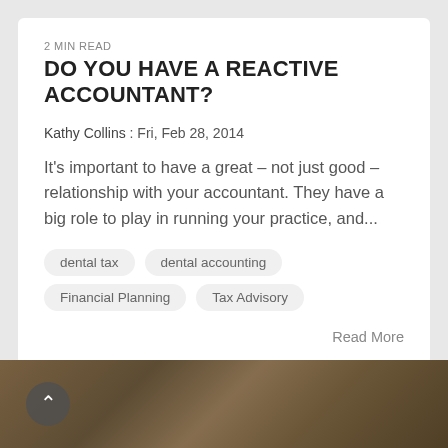2 MIN READ
DO YOU HAVE A REACTIVE ACCOUNTANT?
Kathy Collins : Fri, Feb 28, 2014
It's important to have a great – not just good – relationship with your accountant. They have a big role to play in running your practice, and...
dental tax
dental accounting
Financial Planning
Tax Advisory
Read More
[Figure (photo): Bottom section showing a nature/wood texture image in brown/orange tones with a back navigation button]